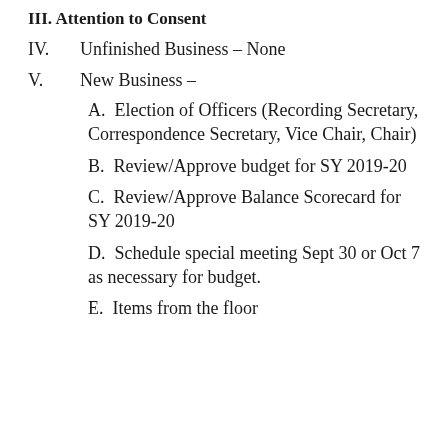III. Attention to Consent
IV.    Unfinished Business – None
V.      New Business –
A.  Election of Officers (Recording Secretary, Correspondence Secretary, Vice Chair, Chair)
B.  Review/Approve budget for SY 2019-20
C.  Review/Approve Balance Scorecard for SY 2019-20
D.  Schedule special meeting Sept 30 or Oct 7 as necessary for budget.
E.  Items from the floor